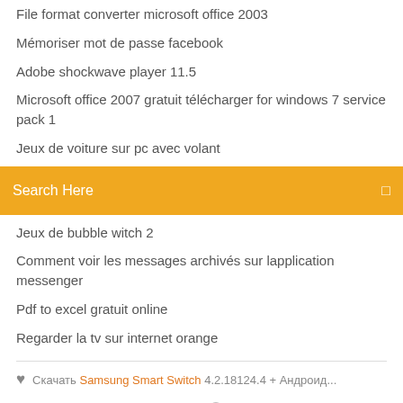File format converter microsoft office 2003
Mémoriser mot de passe facebook
Adobe shockwave player 11.5
Microsoft office 2007 gratuit télécharger for windows 7 service pack 1
Jeux de voiture sur pc avec volant
[Figure (screenshot): Orange search bar with text 'Search Here' and a search icon on the right]
Jeux de bubble witch 2
Comment voir les messages archivés sur lapplication messenger
Pdf to excel gratuit online
Regarder la tv sur internet orange
Скачать Samsung Smart Switch 4.2.18124.4 + Андроид...
[Figure (infographic): Social media icons: facebook, twitter, dribbble, behance]